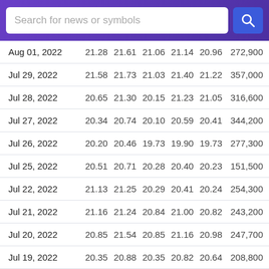Search for news or symbols
| Date | Open | High | Low | Close | Adj Close | Volume |
| --- | --- | --- | --- | --- | --- | --- |
| Aug 01, 2022 | 21.28 | 21.61 | 21.06 | 21.14 | 20.96 | 272,900 |
| Jul 29, 2022 | 21.58 | 21.73 | 21.03 | 21.40 | 21.22 | 357,000 |
| Jul 28, 2022 | 20.65 | 21.30 | 20.15 | 21.23 | 21.05 | 316,600 |
| Jul 27, 2022 | 20.34 | 20.74 | 20.10 | 20.59 | 20.41 | 344,200 |
| Jul 26, 2022 | 20.20 | 20.46 | 19.73 | 19.90 | 19.73 | 277,300 |
| Jul 25, 2022 | 20.51 | 20.71 | 20.28 | 20.40 | 20.23 | 151,500 |
| Jul 22, 2022 | 21.13 | 21.25 | 20.29 | 20.41 | 20.24 | 254,300 |
| Jul 21, 2022 | 21.16 | 21.24 | 20.84 | 21.00 | 20.82 | 243,200 |
| Jul 20, 2022 | 20.85 | 21.54 | 20.85 | 21.16 | 20.98 | 247,700 |
| Jul 19, 2022 | 20.35 | 20.88 | 20.35 | 20.82 | 20.64 | 208,800 |
| Jul 18, 2022 | 20.23 | 20.50 | 19.96 | 20.09 | 19.92 | 239,600 |